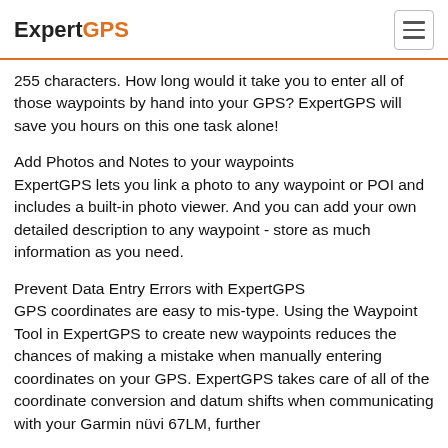ExpertGPS
255 characters. How long would it take you to enter all of those waypoints by hand into your GPS? ExpertGPS will save you hours on this one task alone!
Add Photos and Notes to your waypoints
ExpertGPS lets you link a photo to any waypoint or POI and includes a built-in photo viewer. And you can add your own detailed description to any waypoint - store as much information as you need.
Prevent Data Entry Errors with ExpertGPS
GPS coordinates are easy to mis-type. Using the Waypoint Tool in ExpertGPS to create new waypoints reduces the chances of making a mistake when manually entering coordinates on your GPS. ExpertGPS takes care of all of the coordinate conversion and datum shifts when communicating with your Garmin nüvi 67LM, further